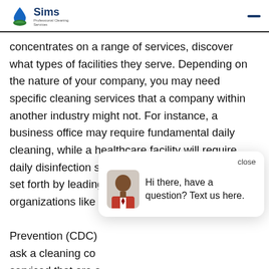Sims
concentrates on a range of services, discover what types of facilities they serve. Depending on the nature of your company, you may need specific cleaning services that a company within another industry might not. For instance, a business office may require fundamental daily cleaning, while a healthcare facility will require daily disinfection services that follow treatments set forth by leading organizations like the Centers for Disease Control Prevention (CDC) ask a cleaning co serviced that are s what market you're in, your cleansing company ought to be devoted to promoting a healthy work environment supplying professional cleaning services that keep your
[Figure (screenshot): Chat popup widget showing avatar of a man in suit with text 'Hi there, have a question? Text us here.' and a close button, plus a blue circular chat button in the bottom right corner.]